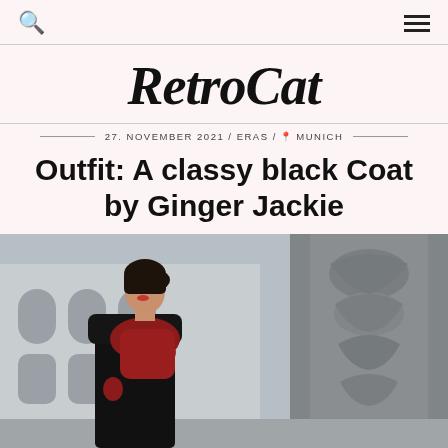RetroCat
27. NOVEMBER 2021 / ERAS / 📍 MUNICH
Outfit: A classy black Coat by Ginger Jackie
[Figure (photo): Woman wearing a black coat and red fur scarf standing in front of a stone monument/column in Munich. Historical building with arched windows visible in background.]